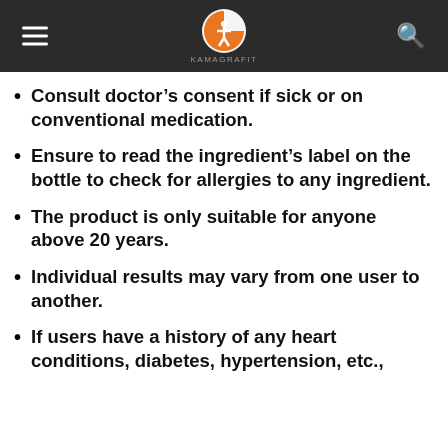KAMAGRAFIT
Consult doctor’s consent if sick or on conventional medication.
Ensure to read the ingredient’s label on the bottle to check for allergies to any ingredient.
The product is only suitable for anyone above 20 years.
Individual results may vary from one user to another.
If users have a history of any heart conditions, diabetes, hypertension, etc.,